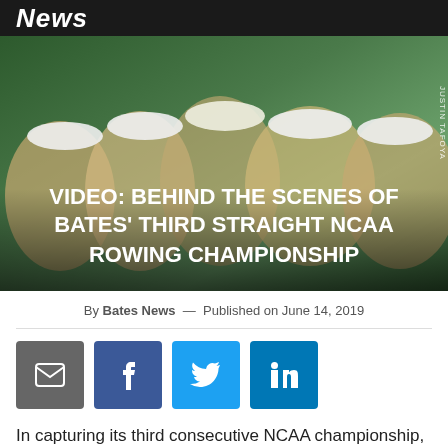News
[Figure (photo): Bates women's rowing team celebrating, wearing white caps, hugging each other outdoors near water with green trees in background. Title overlay reads: VIDEO: BEHIND THE SCENES OF BATES' THIRD STRAIGHT NCAA ROWING CHAMPIONSHIP]
By Bates News — Published on June 14, 2019
[Figure (infographic): Four social media share buttons: email (dark gray), Facebook (dark blue), Twitter (light blue), LinkedIn (blue)]
In capturing its third consecutive NCAA championship, the Bates women's rowing team made it look easy, winning all four of their races by open water at Eagle Creek Reservoir in Indianapolis on May 31 and June 1.